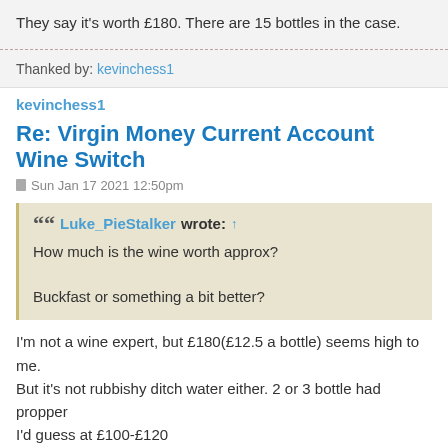They say it's worth £180. There are 15 bottles in the case.
Thanked by: kevinchess1
kevinchess1
Re: Virgin Money Current Account Wine Switch
Sun Jan 17 2021 12:50pm
Luke_PieStalker wrote: ↑
How much is the wine worth approx?

Buckfast or something a bit better?
I'm not a wine expert, but £180(£12.5 a bottle) seems high to me. But it's not rubbishy ditch water either. 2 or 3 bottle had propper I'd guess at £100-£120
Pretty easy to get as well